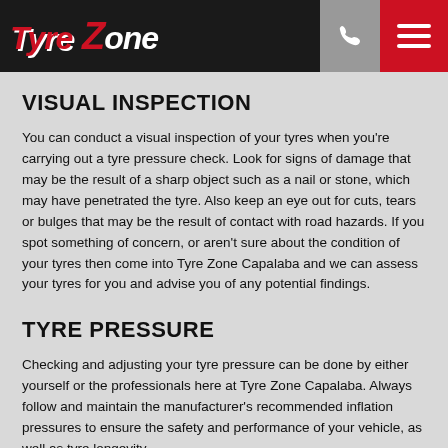[Figure (logo): Tyre Zone logo with stylized red italic text on dark background header bar with phone icon and hamburger menu]
VISUAL INSPECTION
You can conduct a visual inspection of your tyres when you're carrying out a tyre pressure check. Look for signs of damage that may be the result of a sharp object such as a nail or stone, which may have penetrated the tyre. Also keep an eye out for cuts, tears or bulges that may be the result of contact with road hazards. If you spot something of concern, or aren't sure about the condition of your tyres then come into Tyre Zone Capalaba and we can assess your tyres for you and advise you of any potential findings.
TYRE PRESSURE
Checking and adjusting your tyre pressure can be done by either yourself or the professionals here at Tyre Zone Capalaba. Always follow and maintain the manufacturer's recommended inflation pressures to ensure the safety and performance of your vehicle, as well as tyre longevity.